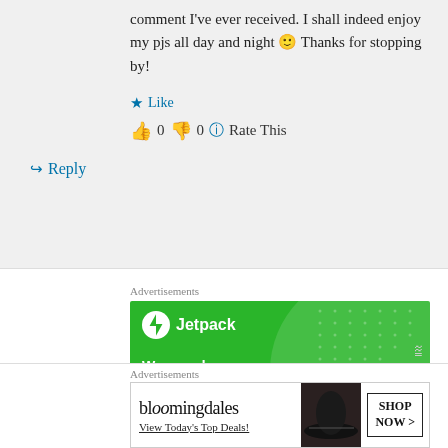comment I've ever received. I shall indeed enjoy my pjs all day and night 🙂 Thanks for stopping by!
★ Like
👍 0 👎 0 ℹ Rate This
↳ Reply
Advertisements
[Figure (screenshot): Jetpack advertisement with green background showing 'We guard your WordPress site' text and Jetpack logo]
Advertisements
[Figure (screenshot): Bloomingdale's advertisement showing logo, 'View Today's Top Deals!' and 'SHOP NOW >' button with woman in hat]